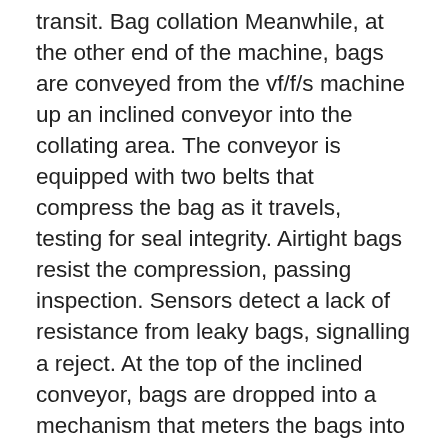transit. Bag collation Meanwhile, at the other end of the machine, bags are conveyed from the vf/f/s machine up an inclined conveyor into the collating area. The conveyor is equipped with two belts that compress the bag as it travels, testing for seal integrity. Airtight bags resist the compression, passing inspection. Sensors detect a lack of resistance from leaky bags, signalling a reject. At the top of the inclined conveyor, bags are dropped into a mechanism that meters the bags into the collating section at appropriate intervals. Bags are dropped intermittently onto what looks like two parallel rubber tank treads that support the bags at each end. After each bag is deposited, the treads advance the distance of one bag width, until an entire row of bags is formed. At that point, the treads drop away